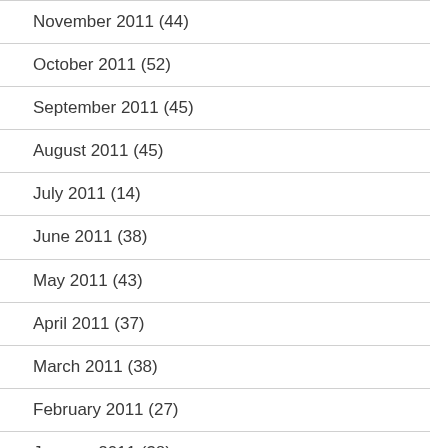November 2011 (44)
October 2011 (52)
September 2011 (45)
August 2011 (45)
July 2011 (14)
June 2011 (38)
May 2011 (43)
April 2011 (37)
March 2011 (38)
February 2011 (27)
January 2011 (38)